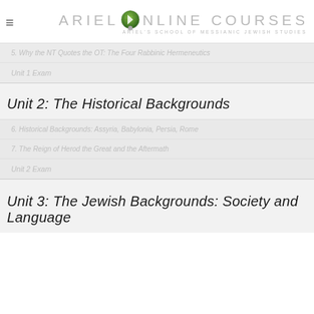ARIEL ONLINE COURSES — ARIEL'S SCHOOL OF MESSIANIC JEWISH STUDIES
5. Why the NT Quotes the OT: The Four Rabbinic Hermeneutics
Unit 1 Exam
Unit 2: The Historical Backgrounds
6. Historical Backgrounds: Assyria, Babylonia, Persia, Rome
7. The Reign of Herod the Great and the Aftermath
Unit 2 Exam
Unit 3: The Jewish Backgrounds: Society and Language